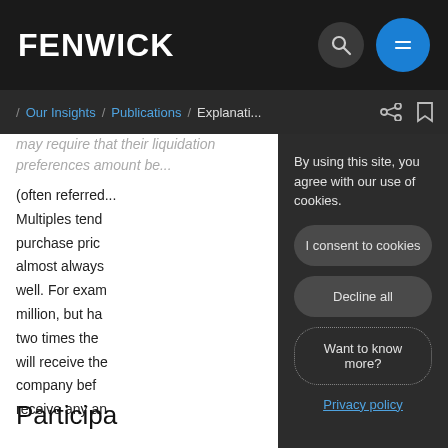FENWICK
/ Our Insights / Publications / Explanati...
may require that their liquidation preferences amount be... (often referred...
Multiples tend purchase price almost always well. For exam million, but has two times the p will receive the company befo receive any an
Participa
By using this site, you agree with our use of cookies.
I consent to cookies
Decline all
Want to know more?
Privacy policy